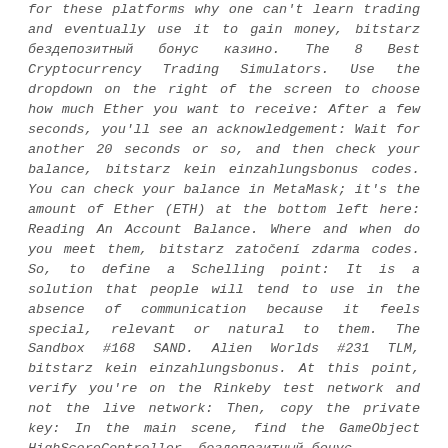for these platforms why one can't learn trading and eventually use it to gain money, bitstarz бездепозитный бонус казино. The 8 Best Cryptocurrency Trading Simulators. Use the dropdown on the right of the screen to choose how much Ether you want to receive: After a few seconds, you'll see an acknowledgement: Wait for another 20 seconds or so, and then check your balance, bitstarz kein einzahlungsbonus codes. You can check your balance in MetaMask; it's the amount of Ether (ETH) at the bottom left here: Reading An Account Balance. Where and when do you meet them, bitstarz zatočení zdarma codes. So, to define a Schelling point: It is a solution that people will tend to use in the absence of communication because it feels special, relevant or natural to them. The Sandbox #168 SAND. Alien Worlds #231 TLM, bitstarz kein einzahlungsbonus. At this point, verify you're on the Rinkeby test network and not the live network: Then, copy the private key: In the main scene, find the GameObject HighScoreController, бездепозитный бонус